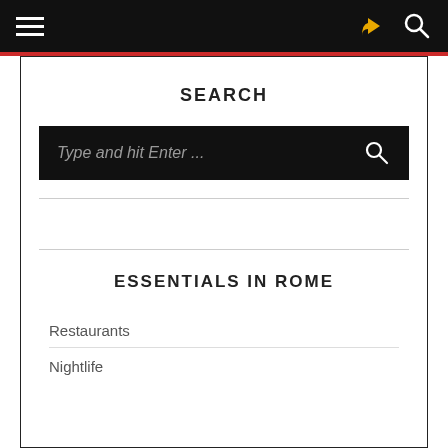Navigation bar with hamburger menu, share icon, and search icon
SEARCH
Type and hit Enter ...
ESSENTIALS IN ROME
Restaurants
Nightlife